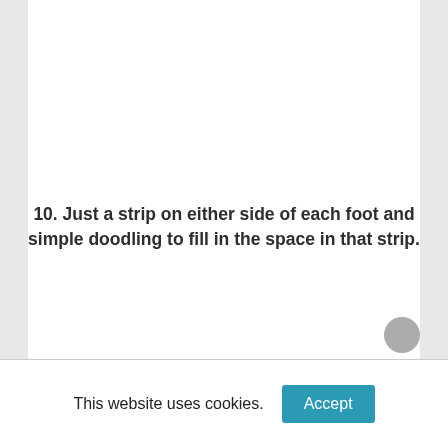[Figure (photo): Blank/light gray image placeholder area at the top of the content section]
10. Just a strip on either side of each foot and simple doodling to fill in the space in that strip.
This website uses cookies.